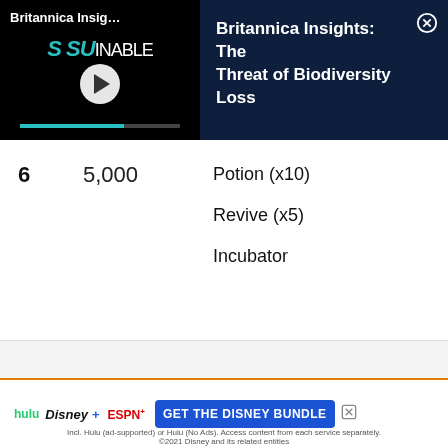[Figure (screenshot): Britannica Insights video notification banner with thumbnail showing 'SUSTAINABLE' text and play button on dark background, and title 'Britannica Insights: The Threat of Biodiversity Loss' on navy background with close button]
| Level | Steps | Rewards |
| --- | --- | --- |
| 6 | 5,000 | Potion (x10)
Revive (x5)
Incubator |
|  |  | Poké Ball (x15) |
[Figure (screenshot): Disney Bundle advertisement banner with Hulu, Disney+, ESPN+ logos and 'GET THE DISNEY BUNDLE' call-to-action button, fine print about ad-supported services, 2021 Disney]